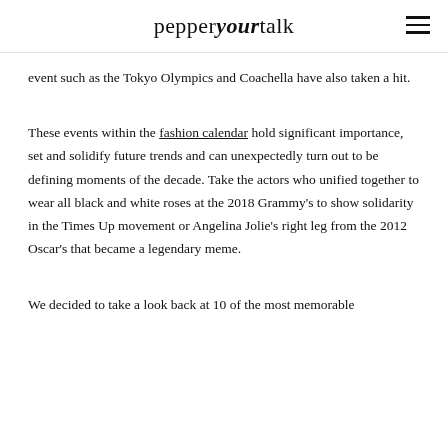pepperyourtalk
event such as the Tokyo Olympics and Coachella have also taken a hit.
These events within the fashion calendar hold significant importance, set and solidify future trends and can unexpectedly turn out to be defining moments of the decade. Take the actors who unified together to wear all black and white roses at the 2018 Grammy's to show solidarity in the Times Up movement or Angelina Jolie's right leg from the 2012 Oscar's that became a legendary meme.
We decided to take a look back at 10 of the most memorable